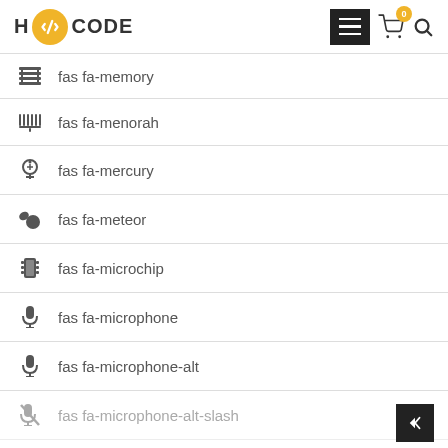H CODE
fas fa-memory
fas fa-menorah
fas fa-mercury
fas fa-meteor
fas fa-microchip
fas fa-microphone
fas fa-microphone-alt
fas fa-microphone-alt-slash